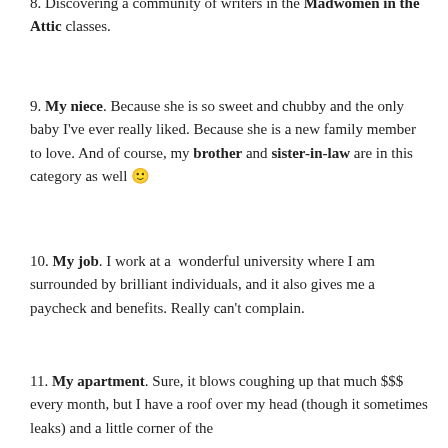8. Discovering a community of writers in the Madwomen in the Attic classes.
9. My niece. Because she is so sweet and chubby and the only baby I've ever really liked. Because she is a new family member to love. And of course, my brother and sister-in-law are in this category as well 🙂
10. My job. I work at a wonderful university where I am surrounded by brilliant individuals, and it also gives me a paycheck and benefits. Really can't complain.
11. My apartment. Sure, it blows coughing up that much $$$ every month, but I have a roof over my head (though it sometimes leaks) and a little corner of the